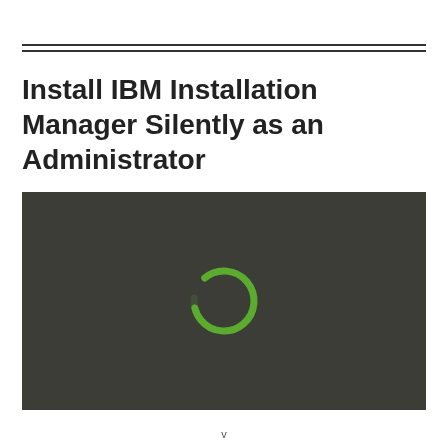Install IBM Installation Manager Silently as an Administrator
[Figure (screenshot): Dark-background video thumbnail showing a loading spinner (green circular arc on dark gray/olive background), representing a loading state for a tutorial video about installing IBM Installation Manager silently as an administrator.]
v